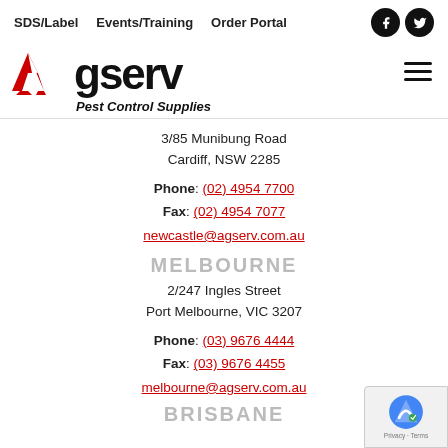SDS/Label   Events/Training   Order Portal
[Figure (logo): Agserv Pest Control Supplies logo with red chevron A badge and black wordmark]
3/85 Munibung Road
Cardiff, NSW 2285
Phone: (02) 4954 7700
Fax: (02) 4954 7077
newcastle@agserv.com.au
MELBOURNE
2/247 Ingles Street
Port Melbourne, VIC 3207
Phone: (03) 9676 4444
Fax: (03) 9676 4455
melbourne@agserv.com.au
BRISBANE